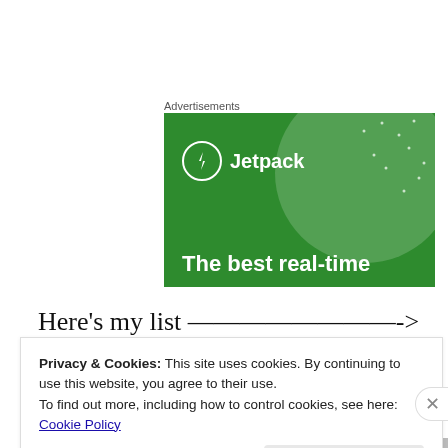Advertisements
[Figure (illustration): Jetpack advertisement banner with green background, Jetpack logo (lightning bolt in circle), and text 'The best real-time']
Here's my list ————————->
Privacy & Cookies: This site uses cookies. By continuing to use this website, you agree to their use.
To find out more, including how to control cookies, see here: Cookie Policy
Close and accept